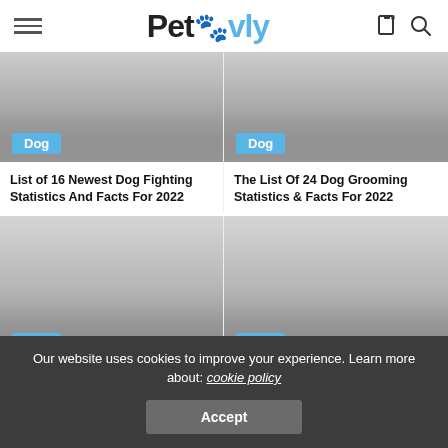Petovly
[Figure (photo): Gray gradient placeholder image with Dog badge - List of 16 Newest Dog Fighting Statistics And Facts For 2022]
[Figure (photo): Gray gradient placeholder image with Dog badge - The List Of 24 Dog Grooming Statistics & Facts For 2022]
List of 16 Newest Dog Fighting Statistics And Facts For 2022
The List Of 24 Dog Grooming Statistics & Facts For 2022
[Figure (photo): Gray gradient placeholder image with Dog badge - bottom left card]
[Figure (photo): Gray gradient placeholder image with Dog badge - bottom right card]
Our website uses cookies to improve your experience. Learn more about: cookie policy
Accept